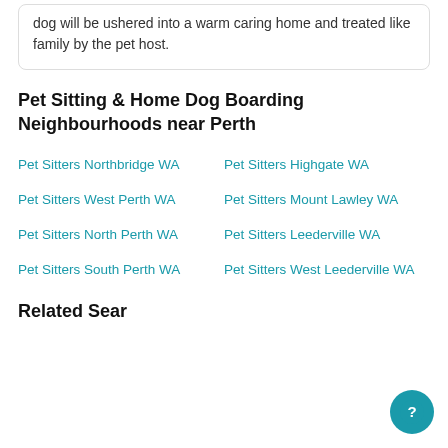dog will be ushered into a warm caring home and treated like family by the pet host.
Pet Sitting & Home Dog Boarding Neighbourhoods near Perth
Pet Sitters Northbridge WA
Pet Sitters Highgate WA
Pet Sitters West Perth WA
Pet Sitters Mount Lawley WA
Pet Sitters North Perth WA
Pet Sitters Leederville WA
Pet Sitters South Perth WA
Pet Sitters West Leederville WA
Related Searches